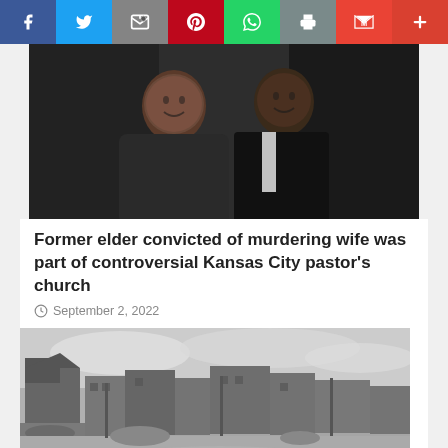Social share bar: Facebook, Twitter, Email, Pinterest, WhatsApp, Print, Gmail, More
[Figure (photo): A couple posing together - a woman and a man in clerical attire, against a dark curtain background]
Former elder convicted of murdering wife was part of controversial Kansas City pastor's church
September 2, 2022
[Figure (photo): Black and white historical photograph showing bombed-out ruined city buildings with rubble, empty street in foreground]